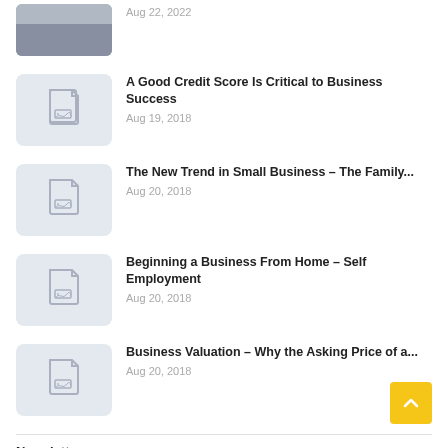[Figure (photo): Partial photo of a person, cropped at top of page]
Aug 22, 2022
[Figure (illustration): Placeholder image icon with document and mountain]
A Good Credit Score Is Critical to Business Success
Aug 19, 2018
[Figure (illustration): Placeholder image icon with document and mountain]
The New Trend in Small Business – The Family...
Aug 20, 2018
[Figure (illustration): Placeholder image icon with document and mountain]
Beginning a Business From Home – Self Employment
Aug 20, 2018
[Figure (illustration): Placeholder image icon with document and mountain]
Business Valuation – Why the Asking Price of a...
Aug 20, 2018
Newsletter